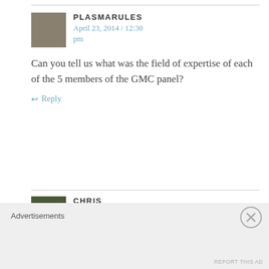PLASMARULES — April 23, 2014 / 12:30 pm
Can you tell us what was the field of expertise of each of the 5 members of the GMC panel?
↩ Reply
CHRIS — April 23, 2014 / 1:00 pm
Advertisements
REPORT THIS AD